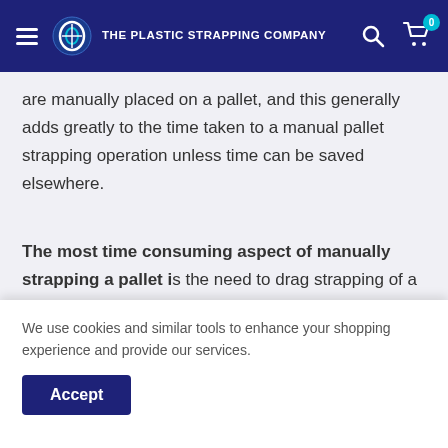THE PLASTIC STRAPPING COMPANY
are manually placed on a pallet, and this generally adds greatly to the time taken to a manual pallet strapping operation unless time can be saved elsewhere.
The most time consuming aspect of manually strapping a pallet is the need to drag strapping of a trolley – pull it over the top of the pallet – down the back face – thread it thru the pallet voids – walk to the front of the pallet –
We use cookies and similar tools to enhance your shopping experience and provide our services.
get the straps around the pallet can be reduced by at least